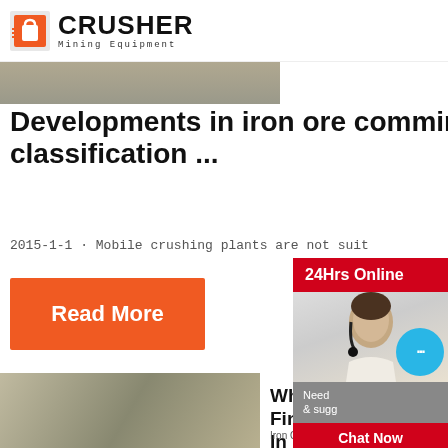CRUSHER Mining Equipment
[Figure (photo): Aerial/landscape photo strip at top of article]
Developments in iron ore comminution and classification ...
2015-1-1 · Mobile crushing plants are not suit
Read More
[Figure (photo): Mining crusher equipment at a quarry site]
Where Find Ir In Nev
Iron Ore is a key craft
[Figure (photo): Customer service representative with headset - 24Hrs Online sidebar]
24Hrs Online
Need & sugg
Chat Now
Enquiry
limingjlmofen@sina.com